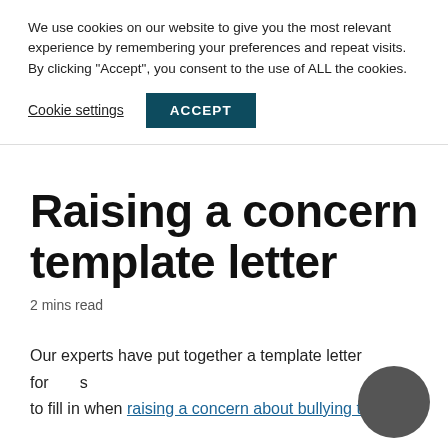We use cookies on our website to give you the most relevant experience by remembering your preferences and repeat visits. By clicking “Accept”, you consent to the use of ALL the cookies.
Cookie settings | ACCEPT
Raising a concern template letter
2 mins read
Our experts have put together a template letter for s to fill in when raising a concern about bullying to the